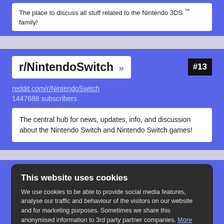The place to discuss all stuff related to the Nintendo 3DS™ family!
r/NintendoSwitch » #13
reddit.com/r/NintendoSwitch
1447688 subscribers
The central hub for news, updates, info, and discussion about the Nintendo Switch and Nintendo Switch games!
This website uses cookies
We use cookies to be able to provide social media features, analyse our traffic and behaviour of the visitors on our website and for marketing purposes. Sometimes we share this anonymised information to 3rd party partner companies. More information
I accept all Cookies    Change settings
Community for Persona 5 and Persona 5 Royal Do not post P5R spoilers outside of the megathread Persona 5 is a role-playing game in